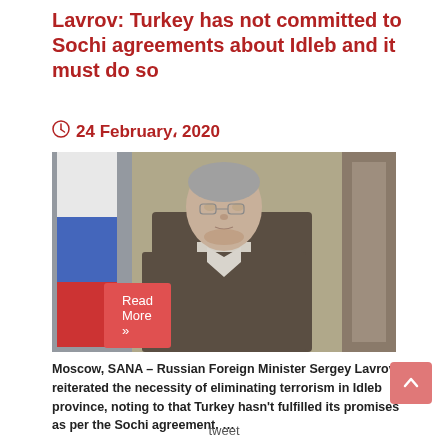Lavrov: Turkey has not committed to Sochi agreements about Idleb and it must do so
24 February، 2020
[Figure (photo): Russian Foreign Minister Sergey Lavrov standing in front of a Russian flag, looking down, wearing a suit and tie]
Moscow, SANA – Russian Foreign Minister Sergey Lavrov reiterated the necessity of eliminating terrorism in Idleb province, noting to that Turkey hasn't fulfilled its promises as per the Sochi agreement. …
Read More »
tweet